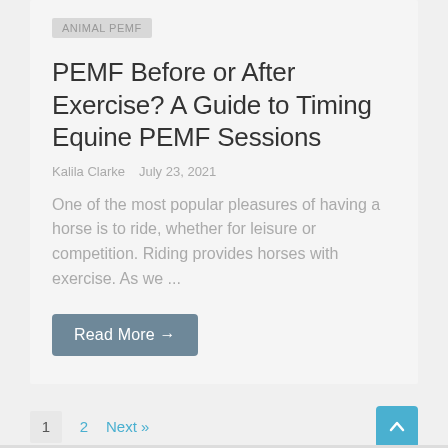ANIMAL PEMF
PEMF Before or After Exercise? A Guide to Timing Equine PEMF Sessions
Kalila Clarke   July 23, 2021
One of the most popular pleasures of having a horse is to ride, whether for leisure or competition. Riding provides horses with exercise. As we ...
Read More →
1  2  Next »